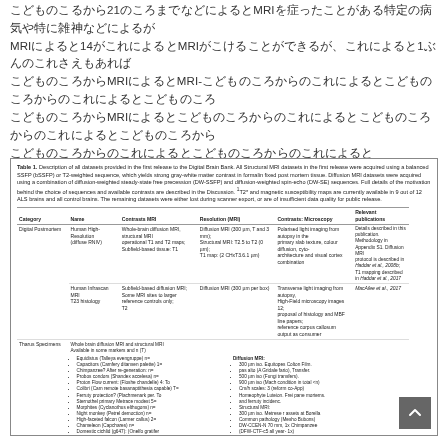21MRI
MRI 14 MRI 1 MRI MRI- MRI
[Figure (table-as-image): Table 1. Description of all datasets provided in the first release to the Digital Brain Bank. Shows categories including Digital Postmortem, Tharus Specimens, Digital Brain Zoo entries with columns for Name, Contrasts MRI, Resolution MRI, Contrasts Microscopy, and Relevant publications.]
Table 1 continued on next page